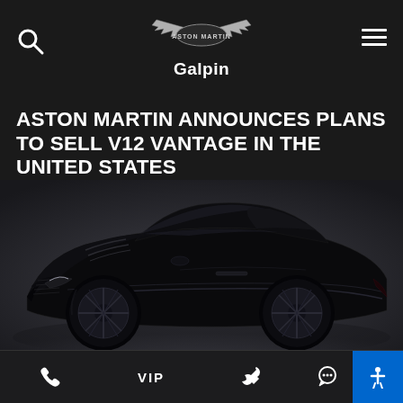Aston Martin Galpin — navigation header with search and menu icons
ASTON MARTIN ANNOUNCES PLANS TO SELL V12 VANTAGE IN THE UNITED STATES
[Figure (photo): Black Aston Martin V12 Vantage sports car photographed from a front three-quarter angle against a dark grey gradient background]
Navigation bar with icons: Phone, VIP, Wrench (service), Chat, Accessibility